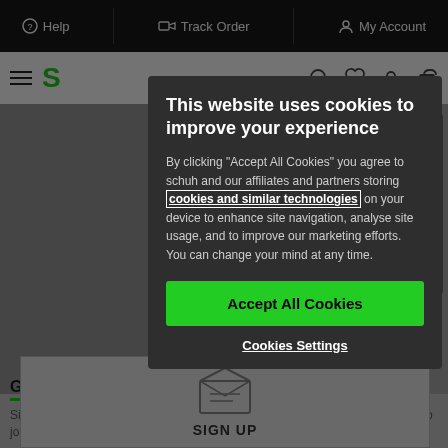Help | Track Order | My Account
[Figure (screenshot): Website header with hamburger menu, S logo, search, heart, location, and bag icons]
[Figure (screenshot): Hero image area with shoe brand imagery]
Get £5 off! Join THE SCHUH CLUB
Sign up to hear about our latest offers, promotions and cool competitions and to join THE SCHUH CLUB loyalty scheme.
[Figure (infographic): Sign up envelope icon with SIGN UP label]
This website uses cookies to improve your experience
By clicking "Accept All Cookies" you agree to schuh and our affiliates and partners storing cookies and similar technologies on your device to enhance site navigation, analyse site usage, and to improve our marketing efforts. You can change your mind at any time.
Accept All Cookies
Cookies Settings